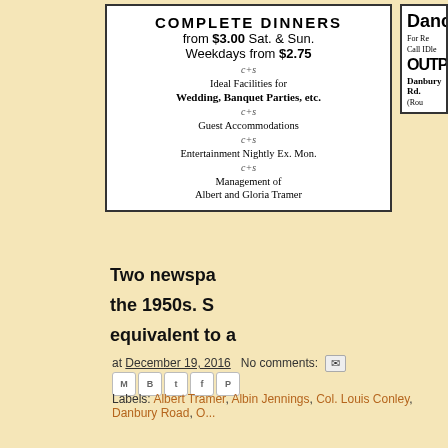[Figure (other): Newspaper advertisement for a restaurant offering complete dinners. Text reads: COMPLETE DINNERS from $3.00 Sat. & Sun. Weekdays from $2.75, with decorative c+s symbols, Ideal Facilities for Wedding, Banquet Parties, etc., Guest Accommodations, Entertainment Nightly Ex. Mon., Management of Albert and Gloria Tramer.]
[Figure (other): Partial newspaper advertisement showing 'Dancing', 'For Re...', 'Call IDle...', 'OUTPO', 'Danbury Rd.', '(Rou...']
Two newspa the 1950s. S equivalent to a
at December 19, 2016   No comments:
Labels: Albert Tramer, Albin Jennings, Col. Louis Conley, Danbury Road, O...